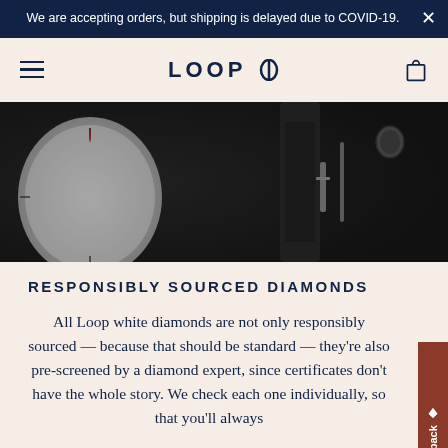We are accepting orders, but shipping is delayed due to COVID-19.
[Figure (logo): Loop 8 brand logo with navigation hamburger menu and cart icon on a cream background]
[Figure (photo): Close-up black and white photograph of a watch mechanism showing the dial, crown, and strap hardware]
RESPONSIBLY SOURCED DIAMONDS
All Loop white diamonds are not only responsibly sourced — because that should be standard — they're also pre-screened by a diamond expert, since certificates don't have the whole story. We check each one individually, so that you'll always